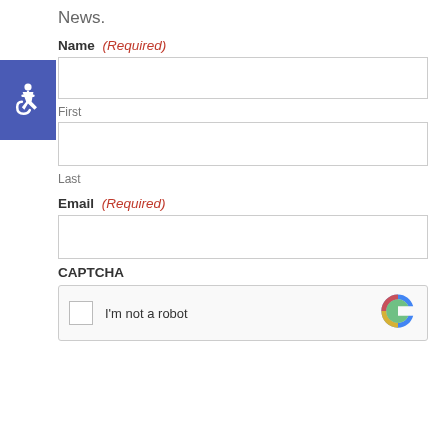News.
Name (Required)
First
Last
Email (Required)
CAPTCHA
[Figure (screenshot): reCAPTCHA widget with checkbox and 'I'm not a robot' text, with reCAPTCHA logo on the right]